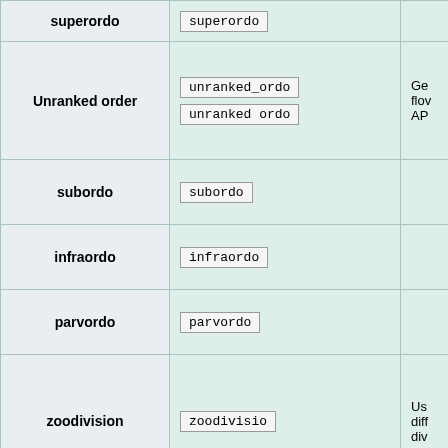| Rank | Template parameter | Notes |
| --- | --- | --- |
| superordo | superordo |  |
| Unranked order | unranked_ordo
unranked ordo | Ge
flov
AP |
| subordo | subordo |  |
| infraordo | infraordo |  |
| parvordo | parvordo |  |
| zoodivision | zoodivisio | Us
diff
div |
| zoosection | zoosectio | Us
diff
sec |